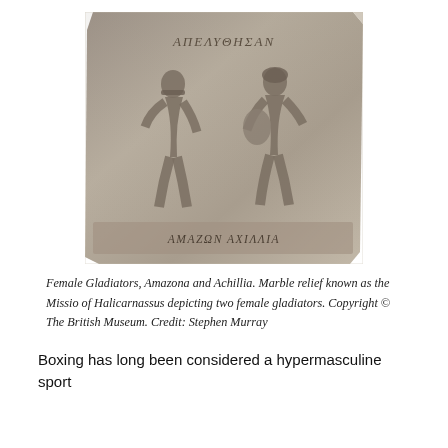[Figure (photo): Marble relief known as the Missio of Halicarnassus depicting two female gladiators, Amazona and Achillia, with ancient Greek text inscribed at the top and bottom of the stone.]
Female Gladiators, Amazona and Achillia. Marble relief known as the Missio of Halicarnassus depicting two female gladiators. Copyright © The British Museum. Credit: Stephen Murray
Boxing has long been considered a hypermasculine sport